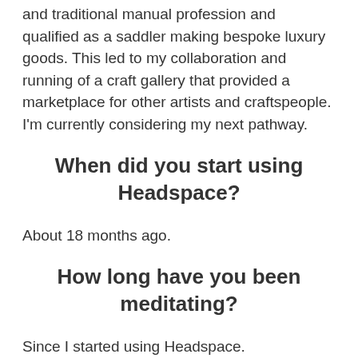and traditional manual profession and qualified as a saddler making bespoke luxury goods. This led to my collaboration and running of a craft gallery that provided a marketplace for other artists and craftspeople. I'm currently considering my next pathway.
When did you start using Headspace?
About 18 months ago.
How long have you been meditating?
Since I started using Headspace.
What piece of advice would you